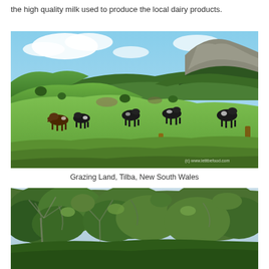the high quality milk used to produce the local dairy products.
[Figure (photo): Photograph of grazing land in Tilba, New South Wales, showing black and brown dairy cows grazing on lush green rolling hills with a rocky mountain peak in the background and blue sky with clouds. A wooden fence post is visible in the foreground right. Watermark: (c) www.letitbefood.com]
Grazing Land, Tilba, New South Wales
[Figure (photo): Photograph showing treetops of Australian eucalyptus/gum trees with grey-green foliage against a bright sky, partially cropped at bottom of page.]